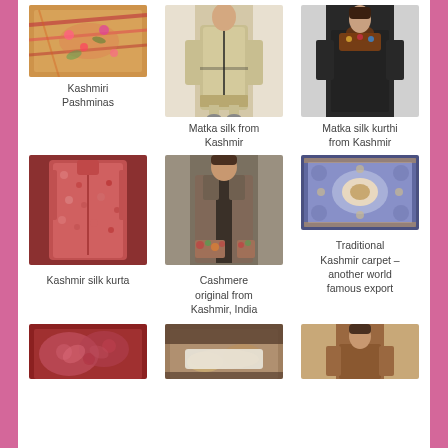[Figure (photo): Kashmiri Pashminas - colorful embroidered fabric/shawl]
Kashmiri Pashminas
[Figure (photo): Matka silk from Kashmir - woman in cream/gold silk kurta with black trim]
Matka silk from Kashmir
[Figure (photo): Matka silk kurthi from Kashmir - woman in black kurthi with embroidered neckline]
Matka silk kurthi from Kashmir
[Figure (photo): Kashmir silk kurta - red floral printed long kurta on display]
Kashmir silk kurta
[Figure (photo): Cashmere original from Kashmir, India - woman in olive/brown embroidered coat]
Cashmere original from Kashmir, India
[Figure (photo): Traditional Kashmir carpet - blue ornate carpet with floral pattern]
Traditional Kashmir carpet – another world famous export
[Figure (photo): Kashmiri embroidered fabric close-up]
[Figure (photo): Person working on Kashmiri textile]
[Figure (photo): Woman in brown Kashmiri outfit]